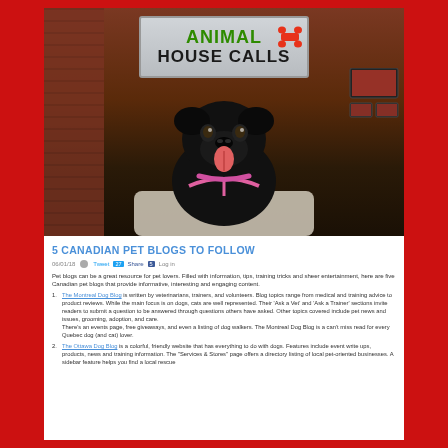[Figure (photo): Photo of a black pug dog sitting on a light-colored couch in a TV studio setting. Behind the dog is a sign reading 'ANIMAL HOUSE CALLS' with a red bone graphic and green and dark lettering. The studio background shows brick walls, monitors, and studio lighting.]
5 CANADIAN PET BLOGS TO FOLLOW
06/01/18  Tweet  27  Share  5  Log in
Pet blogs can be a great resource for pet lovers. Filled with information, tips, training tricks and sheer entertainment, here are five Canadian pet blogs that provide informative, interesting and engaging content.
The Montreal Dog Blog is written by veterinarians, trainers, and volunteers. Blog topics range from medical and training advice to product reviews. While the main focus is on dogs, cats are well represented. Their 'Ask a Vet' and 'Ask a Trainer' sections invite readers to submit a question to be answered through questions others have asked. Other topics covered include pet news and issues, grooming, adoption, and care. There's an events page, free giveaways, and even a listing of dog walkers. The Montreal Dog Blog is a can't miss read for every Quebec dog (and cat) lover.
The Ottawa Dog Blog is a colorful, friendly website that has everything to do with dogs. Features include event write ups, products, news and training information. The 'Services & Stores' page offers a directory listing of local pet-oriented businesses. A sidebar feature helps you find a local rescue...